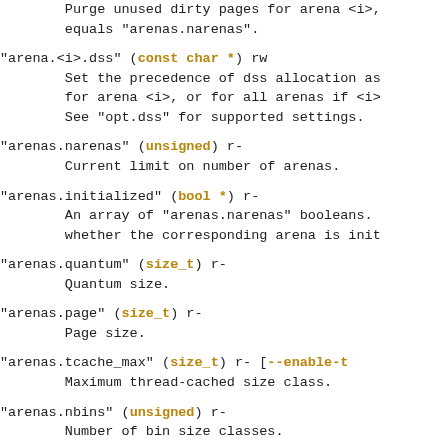Purge unused dirty pages for arena <i>, equals "arenas.narenas".
"arena.<i>.dss" (const char *) rw
    Set the precedence of dss allocation as for arena <i>, or for all arenas if <i> equals "arenas.narenas". See "opt.dss" for supported settings.
"arenas.narenas" (unsigned) r-
    Current limit on number of arenas.
"arenas.initialized" (bool *) r-
    An array of "arenas.narenas" booleans. whether the corresponding arena is init
"arenas.quantum" (size_t) r-
    Quantum size.
"arenas.page" (size_t) r-
    Page size.
"arenas.tcache_max" (size_t) r- [--enable-t
    Maximum thread-cached size class.
"arenas.nbins" (unsigned) r-
    Number of bin size classes.
"arenas.nhbins" (unsigned) r- [--enable-tca